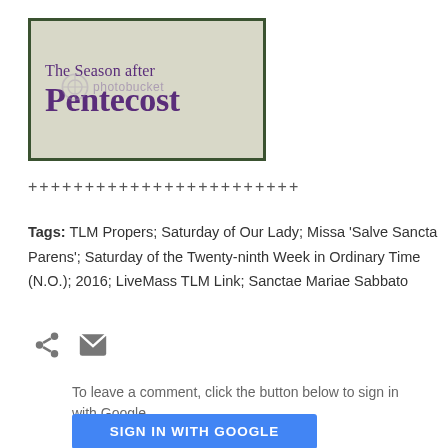[Figure (illustration): Banner image for 'The Season after Pentecost' with dark green border and beige background, purple text, photobucket watermark]
++++++++++++++++++++++++
Tags: TLM Propers; Saturday of Our Lady; Missa 'Salve Sancta Parens'; Saturday of the Twenty-ninth Week in Ordinary Time (N.O.); 2016; LiveMass TLM Link; Sanctae Mariae Sabbato
[Figure (infographic): Share icon (three circles connected) and email/envelope icon]
To leave a comment, click the button below to sign in with Google.
SIGN IN WITH GOOGLE